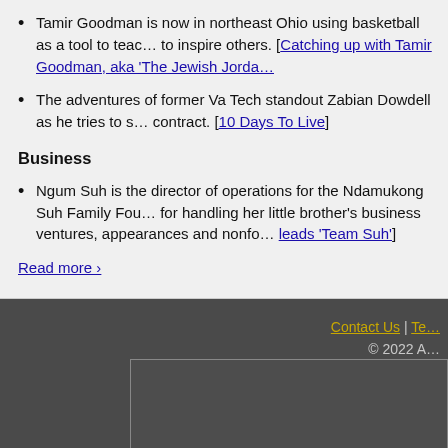Tamir Goodman is now in northeast Ohio using basketball as a tool to teach and to inspire others. [Catching up with Tamir Goodman, aka 'The Jewish Jordan']
The adventures of former Va Tech standout Zabian Dowdell as he tries to secure a contract. [10 Days To Live]
Business
Ngum Suh is the director of operations for the Ndamukong Suh Family Foundation, responsible for handling her little brother's business ventures, appearances and nonprofit work. [Ngum leads 'Team Suh']
Read more ›
Contact Us | Te... © 2022 A...